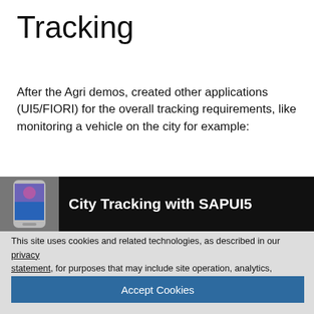Tracking
After the Agri demos, created other applications (UI5/FIORI) for the overall tracking requirements, like monitoring a vehicle on the city for example:
[Figure (screenshot): City Tracking with SAPUI5 banner - dark background with phone icon and white bold text]
This site uses cookies and related technologies, as described in our privacy statement, for purposes that may include site operation, analytics, enhanced user experience, or advertising. You may choose to consent to our use of these technologies, or manage your own preferences.
Accept Cookies
More Information
Privacy Policy | Powered by: TrustArc